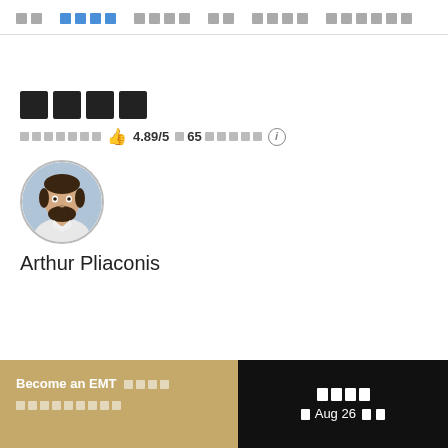□□  □□□□  □□□□  □□  □□□□  □□□□□□
□□□□
□□□□□□□ 👍 4.89/5 □65 □□□□ ⓘ
[Figure (photo): Circular profile photo of Arthur Pliaconis, a bearded man in a white shirt]
Arthur Pliaconis
Become an EMT □□□□ □□□□□□□□□
□□□□ □ Aug 26 □□